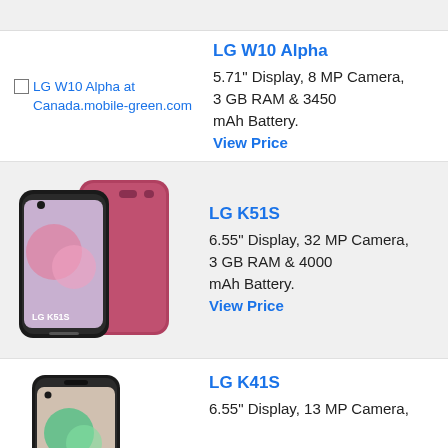[Figure (screenshot): Top gray bar of webpage]
[Figure (photo): LG W10 Alpha placeholder image link at Canada.mobile-green.com]
LG W10 Alpha
5.71" Display, 8 MP Camera, 3 GB RAM & 3450 mAh Battery.
View Price
[Figure (photo): LG K51S smartphone photo showing two phones, one pink/red and one dark, front and back]
LG K51S
6.55" Display, 32 MP Camera, 3 GB RAM & 4000 mAh Battery.
View Price
[Figure (photo): LG K41S smartphone photo showing dark colored phone]
LG K41S
6.55" Display, 13 MP Camera,